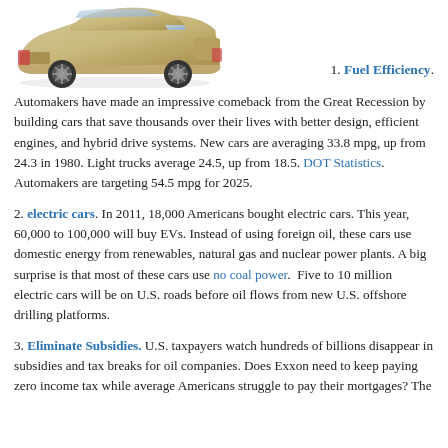[Figure (photo): Photo of a gold/tan sedan car viewed from the rear-left angle against a white background]
1. Fuel Efficiency. Automakers have made an impressive comeback from the Great Recession by building cars that save thousands over their lives with better design, efficient engines, and hybrid drive systems. New cars are averaging 33.8 mpg, up from 24.3 in 1980. Light trucks average 24.5, up from 18.5. DOT Statistics. Automakers are targeting 54.5 mpg for 2025.
2. electric cars. In 2011, 18,000 Americans bought electric cars. This year, 60,000 to 100,000 will buy EVs. Instead of using foreign oil, these cars use domestic energy from renewables, natural gas and nuclear power plants. A big surprise is that most of these cars use no coal power. Five to 10 million electric cars will be on U.S. roads before oil flows from new U.S. offshore drilling platforms.
3. Eliminate Subsidies. U.S. taxpayers watch hundreds of billions disappear in subsidies and tax breaks for oil companies. Does Exxon need to keep paying zero income tax while average Americans struggle to pay their mortgages? The